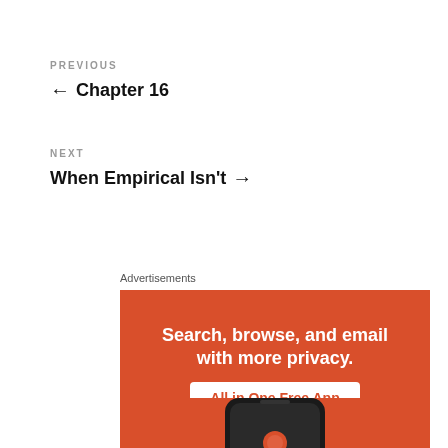PREVIOUS
← Chapter 16
NEXT
When Empirical Isn't →
Advertisements
[Figure (illustration): Orange advertisement banner reading 'Search, browse, and email with more privacy. All in One Free App' with a phone graphic below.]